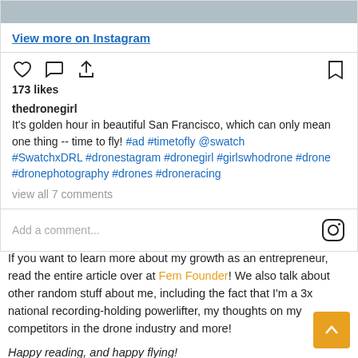[Figure (photo): Top portion of Instagram post showing a cropped photo of a person]
View more on Instagram
[Figure (infographic): Instagram action icons: heart, comment bubble, share, and bookmark]
173 likes
thedronegirl It's golden hour in beautiful San Francisco, which can only mean one thing -- time to fly! #ad #timetofly @swatch #SwatchxDRL #dronestagram #dronegirl #girlswhodrone #drone #dronephotography #drones #droneracing
view all 7 comments
Add a comment...
If you want to learn more about my growth as an entrepreneur, read the entire article over at Fem Founder! We also talk about other random stuff about me, including the fact that I'm a 3x national recording-holding powerlifter, my thoughts on my competitors in the drone industry and more!
Happy reading, and happy flying!